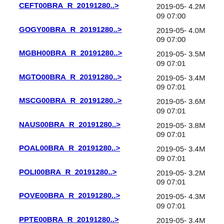CEFT00BRA_R_20191280..> 2019-05-09 07:00 4.2M
GOGY00BRA_R_20191280..> 2019-05-09 07:00 4.0M
MGBH00BRA_R_20191280..> 2019-05-09 07:01 3.5M
MGTO00BRA_R_20191280..> 2019-05-09 07:01 3.4M
MSCG00BRA_R_20191280..> 2019-05-09 07:01 3.6M
NAUS00BRA_R_20191280..> 2019-05-09 07:01 3.8M
POAL00BRA_R_20191280..> 2019-05-09 07:01 3.4M
POLI00BRA_R_20191280..> 2019-05-09 07:01 3.2M
POVE00BRA_R_20191280..> 2019-05-09 07:01 4.3M
PPTE00BRA_R_20191280..> 2019-05-09 09:56 3.4M
RIOD00BRA_R_20191280..> 2019-05-09 07:0? 3.2M